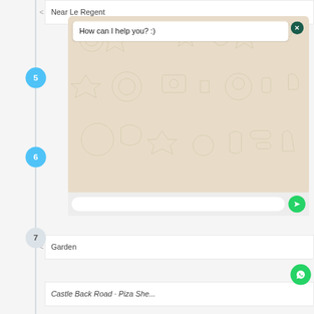[Figure (screenshot): A mobile app interface showing a vertical timeline with numbered circular nodes (5, 6, 7) connected by a vertical line. Location entries include 'Near Le Regent', 'Garden', and 'Castle Back Road...' A WhatsApp-style chat widget overlay is open showing a decorative doodle background, a chat bubble saying 'How can I help you? :)', an input bar with a send button, and a green WhatsApp logo button.]